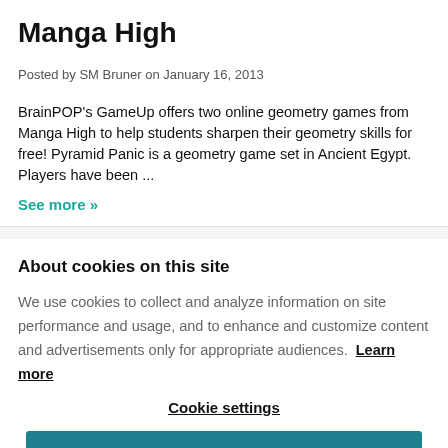Manga High
Posted by SM Bruner on January 16, 2013
BrainPOP's GameUp offers two online geometry games from Manga High to help students sharpen their geometry skills for free! Pyramid Panic is a geometry game set in Ancient Egypt. Players have been ...
See more »
About cookies on this site
We use cookies to collect and analyze information on site performance and usage, and to enhance and customize content and advertisements only for appropriate audiences. Learn more
Cookie settings
ALLOW ALL COOKIES